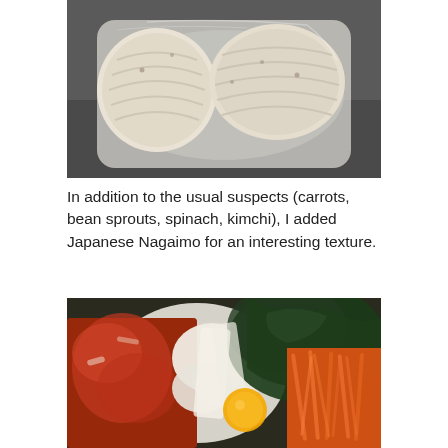[Figure (photo): Overhead photo of whole Nagaimo (Japanese mountain yam) roots in a plastic container with plastic wrap, viewed from above on a dark surface.]
In addition to the usual suspects (carrots, bean sprouts, spinach, kimchi), I added Japanese Nagaimo for an interesting texture.
[Figure (photo): Close-up photo of a bibimbap bowl with kimchi, white rice, sautéed spinach, julienned carrots, sliced daikon, and a yellow egg yolk visible in the center.]